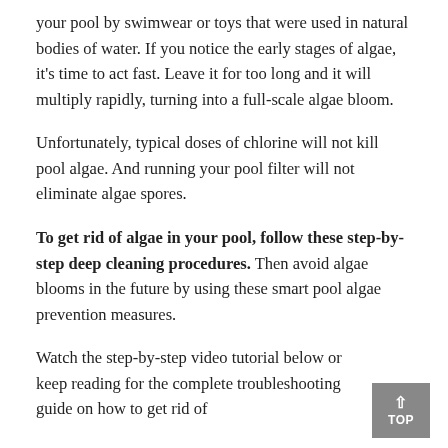your pool by swimwear or toys that were used in natural bodies of water. If you notice the early stages of algae, it's time to act fast. Leave it for too long and it will multiply rapidly, turning into a full-scale algae bloom.
Unfortunately, typical doses of chlorine will not kill pool algae. And running your pool filter will not eliminate algae spores.
To get rid of algae in your pool, follow these step-by-step deep cleaning procedures. Then avoid algae blooms in the future by using these smart pool algae prevention measures.
Watch the step-by-step video tutorial below or keep reading for the complete troubleshooting guide on how to get rid of